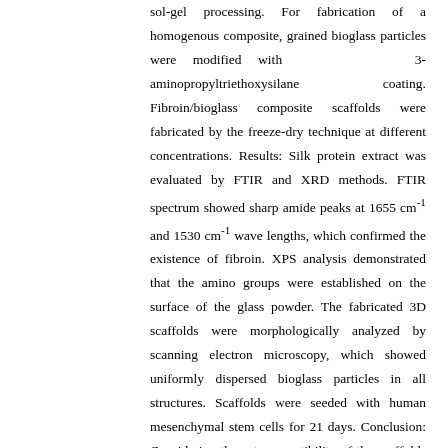sol-gel processing. For fabrication of a homogenous composite, grained bioglass particles were modified with 3-aminopropyltriethoxysilane coating. Fibroin/bioglass composite scaffolds were fabricated by the freeze-dry technique at different concentrations. Results: Silk protein extract was evaluated by FTIR and XRD methods. FTIR spectrum showed sharp amide peaks at 1655 cm-1 and 1530 cm-1 wave lengths, which confirmed the existence of fibroin. XPS analysis demonstrated that the amino groups were established on the surface of the glass powder. The fabricated 3D scaffolds were morphologically analyzed by scanning electron microscopy, which showed uniformly dispersed bioglass particles in all structures. Scaffolds were seeded with human mesenchymal stem cells for 21 days. Conclusion: Considering the cytocompatibility of the scaffolds and osteogenic differentiation during three weeks, it could be concluded that the appropriate